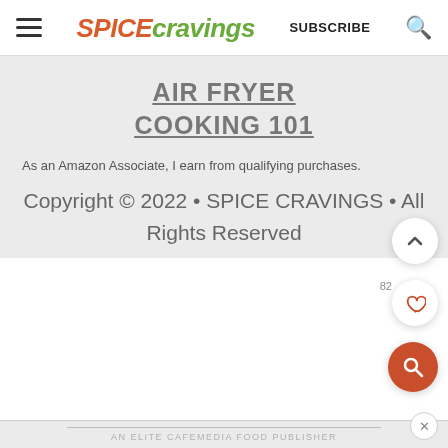SPICEcravings — SUBSCRIBE
AIR FRYER COOKING 101
As an Amazon Associate, I earn from qualifying purchases.
Copyright © 2022 • SPICE CRAVINGS • All Rights Reserved
AN ELITE CAFEMEDIA FOOD PUBLISHER